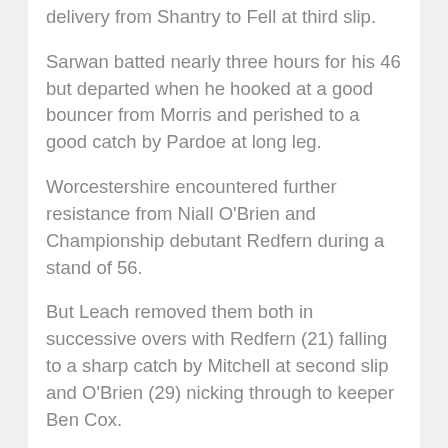delivery from Shantry to Fell at third slip.
Sarwan batted nearly three hours for his 46 but departed when he hooked at a good bouncer from Morris and perished to a good catch by Pardoe at long leg.
Worcestershire encountered further resistance from Niall O'Brien and Championship debutant Redfern during a stand of 56.
But Leach removed them both in successive overs with Redfern (21) falling to a sharp catch by Mitchell at second slip and O'Brien (29) nicking through to keeper Ben Cox.
Mitchell also held onto a edge from Richard Jones (3) off Saeed Ajmal and the Cox-Morris combination accounted for Ben Raine (7) to leave Leicestershire on 240-9 – just three runs